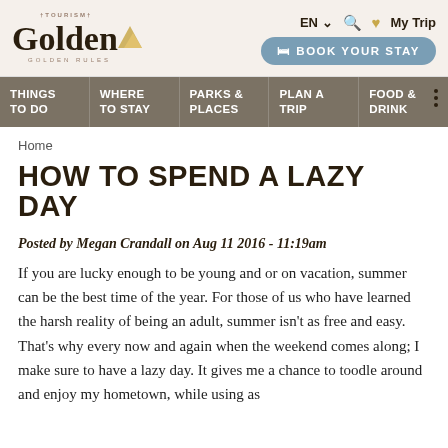[Figure (logo): Tourism Golden logo with golden mountain graphic, tagline GOLDEN RULES]
EN  🔍 ❤ My Trip  BOOK YOUR STAY
THINGS TO DO  WHERE TO STAY  PARKS & PLACES  PLAN A TRIP  FOOD & DRINK
Home
HOW TO SPEND A LAZY DAY
Posted by Megan Crandall on Aug 11 2016 - 11:19am
If you are lucky enough to be young and or on vacation, summer can be the best time of the year. For those of us who have learned the harsh reality of being an adult, summer isn't as free and easy. That's why every now and again when the weekend comes along; I make sure to have a lazy day. It gives me a chance to toodle around and enjoy my hometown, while using as